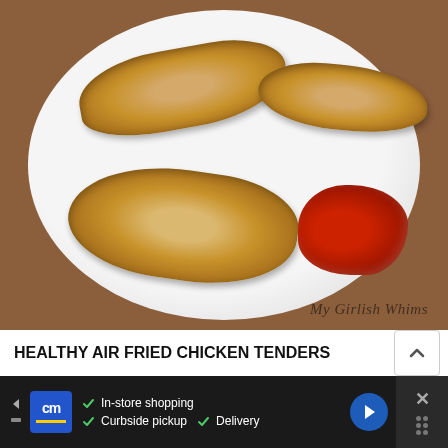[Figure (photo): Air fried chicken tenders on a white plate with ketchup on a wooden surface. Watermark reads 'My Girlish Whims'.]
HEALTHY AIR FRIED CHICKEN TENDERS
[Figure (other): Advertisement banner for a store (cm logo). Checkmarks for 'In-store shopping', 'Curbside pickup', 'Delivery'. Blue navigation arrow button. Close/X button on right.]